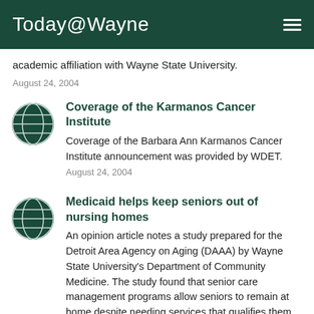Today@Wayne
academic affiliation with Wayne State University.
August 24, 2004
Coverage of the Karmanos Cancer Institute
Coverage of the Barbara Ann Karmanos Cancer Institute announcement was provided by WDET.
August 24, 2004
Medicaid helps keep seniors out of nursing homes
An opinion article notes a study prepared for the Detroit Area Agency on Aging (DAAA) by Wayne State University's Department of Community Medicine. The study found that senior care management programs allow seniors to remain at home despite needing services that qualifies them for nursing home care. The study says